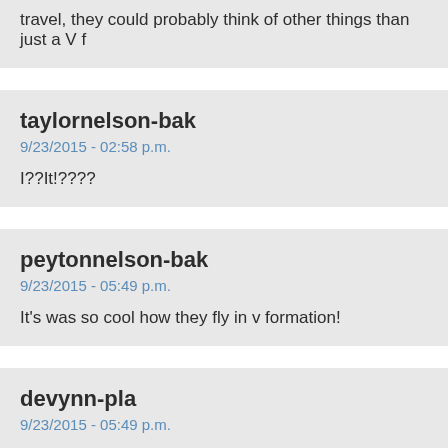travel, they could probably think of other things than just a V f
taylornelson-bak
9/23/2015 - 02:58 p.m.

I??It!????
peytonnelson-bak
9/23/2015 - 05:49 p.m.

It's was so cool how they fly in v formation!
devynn-pla
9/23/2015 - 05:49 p.m.